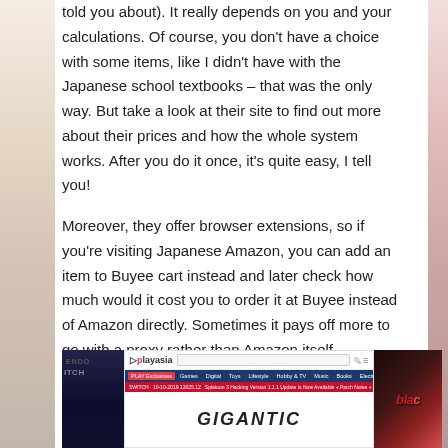told you about). It really depends on you and your calculations. Of course, you don't have a choice with some items, like I didn't have with the Japanese school textbooks – that was the only way. But take a look at their site to find out more about their prices and how the whole system works. After you do it once, it's quite easy, I tell you!
Moreover, they offer browser extensions, so if you're visiting Japanese Amazon, you can add an item to Buyee cart instead and later check how much would it cost you to order it at Buyee instead of Amazon directly. Sometimes it pays off more to go with a proxy rather than Amazon itself.
[Figure (screenshot): Screenshot showing a Playasia website interface with navigation bar, red promotional banner, and a 'GIGANTIC' game title visible, flanked by Nintendo Switch branding on the left and a dark graphic on the right.]